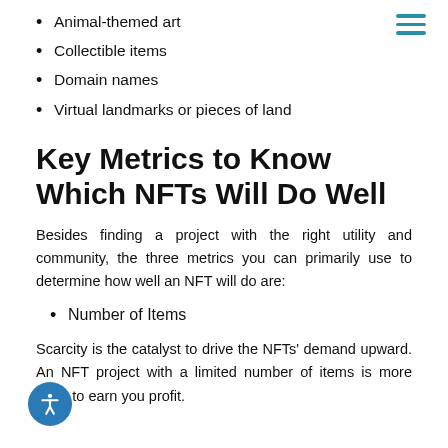Animal-themed art
Collectible items
Domain names
Virtual landmarks or pieces of land
Key Metrics to Know Which NFTs Will Do Well
Besides finding a project with the right utility and community, the three metrics you can primarily use to determine how well an NFT will do are:
Number of Items
Scarcity is the catalyst to drive the NFTs' demand upward. An NFT project with a limited number of items is more likely to earn you profit.